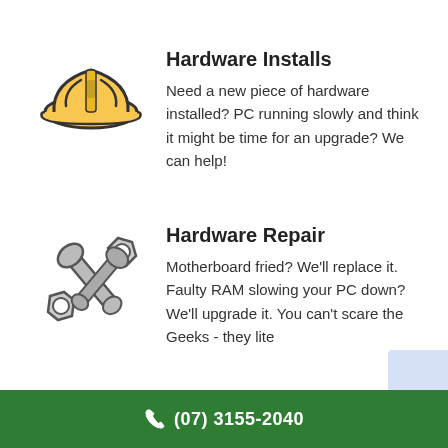[Figure (illustration): Yellow hard hat / safety helmet icon]
Hardware Installs
Need a new piece of hardware installed? PC running slowly and think it might be time for an upgrade? We can help!
[Figure (illustration): Grey wrench and bolt/tools icon representing repair]
Hardware Repair
Motherboard fried? We'll replace it. Faulty RAM slowing your PC down? We'll upgrade it. You can't scare the Geeks - they lite...
(07) 3155-2040